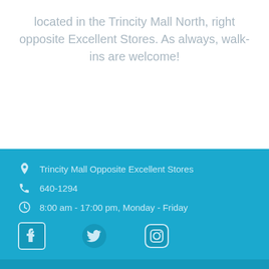located in the Trincity Mall North, right opposite Excellent Stores. As always, walk-ins are welcome!
Trincity Mall Opposite Excellent Stores
640-1294
8:00 am - 17:00 pm, Monday - Friday
[Figure (infographic): Social media icons: Facebook, Twitter, Instagram]
© Copyright iRepair 2020. All Right Reserved.